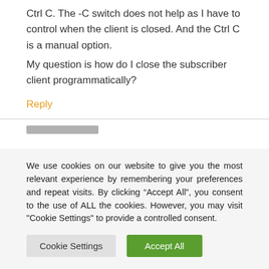Ctrl C. The -C switch does not help as I have to control when the client is closed. And the Ctrl C is a manual option.
My question is how do I close the subscriber client programmatically?
Reply
We use cookies on our website to give you the most relevant experience by remembering your preferences and repeat visits. By clicking “Accept All”, you consent to the use of ALL the cookies. However, you may visit "Cookie Settings" to provide a controlled consent.